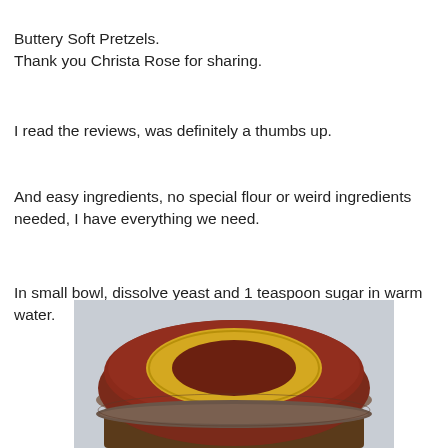Buttery Soft Pretzels.
Thank you Christa Rose for sharing.
I read the reviews, was definitely a thumbs up.
And easy ingredients, no special flour or weird ingredients needed, I have everything we need.
In small bowl, dissolve yeast and 1 teaspoon sugar in warm water.
[Figure (photo): Close-up photograph of the lid of a dark glass jar. The lid is dark red/maroon metal with a round yellow label in the center. The jar appears to be a food ingredient jar.]